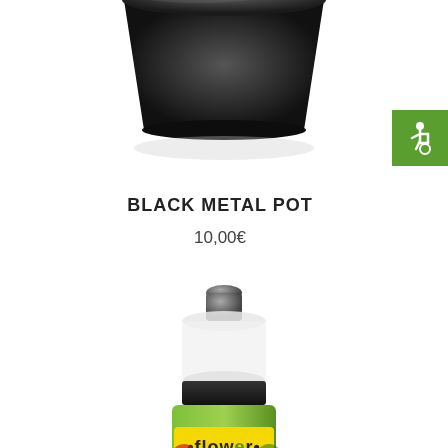[Figure (photo): Top portion of a black metal pot on white background]
[Figure (logo): Green square accessibility/wheelchair icon badge in top right corner]
BLACK METAL POT
10,00€
[Figure (photo): Close-up of a spray bottle top with a green Flower brand label visible at the bottom]